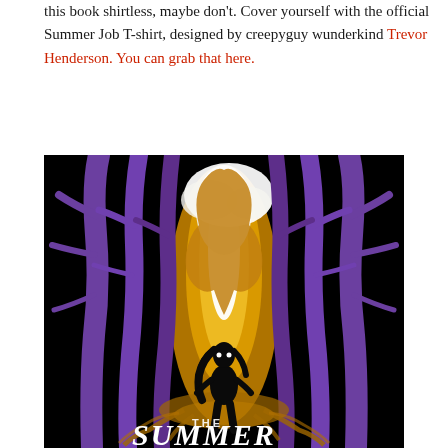this book shirtless, maybe don't. Cover yourself with the official Summer Job T-shirt, designed by creepyguy wunderkind Trevor Henderson. You can grab that here.
[Figure (illustration): Book cover art for 'The Summer' showing a dark horror illustration: a silhouetted figure of a girl with glowing white eyes standing in a forest of tall purple trees, with an orange/gold flame-like supernatural entity looming behind her. White text at the bottom reads 'THE' and 'SUMMER' in a distressed horror font. Black background.]